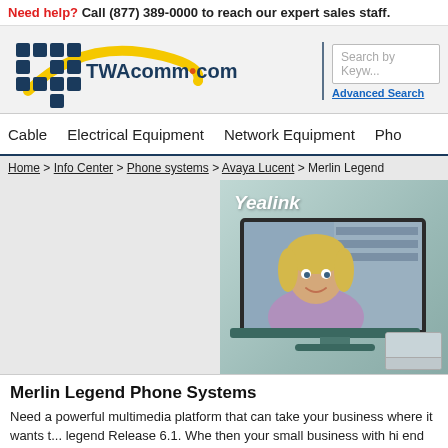Need help? Call (877) 389-0000 to reach our expert sales staff.
[Figure (logo): TWAcomm.com logo with grid of blue squares and yellow swoosh arc]
Search by Keyword
Advanced Search
Cable  Electrical Equipment  Network Equipment  Pho...
Home > Info Center > Phone systems > Avaya Lucent > Merlin Legend
[Figure (photo): Yealink advertisement banner showing a woman on a video call displayed on a Yealink device screen]
Merlin Legend Phone Systems
Need a powerful multimedia platform that can take your business where it wants to ... legend Release 6.1. Whe then your small business with hi end ...